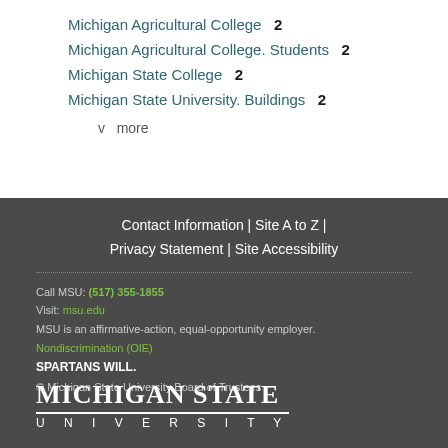Michigan Agricultural College  2
Michigan Agricultural College. Students  2
Michigan State College  2
Michigan State University. Buildings  2
v  more
Contact Information | Site A to Z | Privacy Statement | Site Accessibility
Call MSU: (517) 355-1855
Visit: msu.edu
MSU is an affirmative-action, equal-opportunity employer.
Nondiscrimination (OIE)
SPARTANS WILL.
© Michigan State University Board of Trustees
MICHIGAN STATE UNIVERSITY